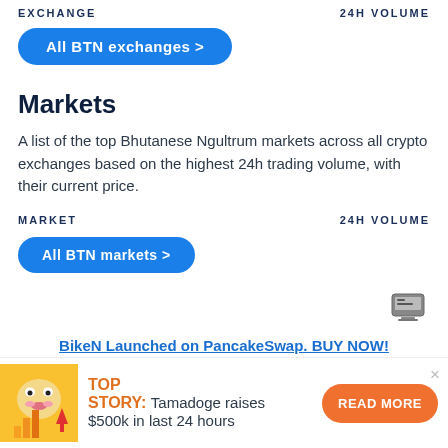EXCHANGE   24H VOLUME
All BTN exchanges >
Markets
A list of the top Bhutanese Ngultrum markets across all crypto exchanges based on the highest 24h trading volume, with their current price.
MARKET   24H VOLUME
All BTN markets >
BikeN Launched on PancakeSwap. BUY NOW!
TOP STORY: Tamadoge raises $500k in last 24 hours
READ MORE